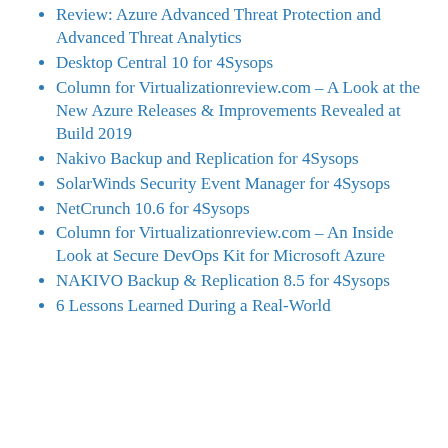Review: Azure Advanced Threat Protection and Advanced Threat Analytics
Desktop Central 10 for 4Sysops
Column for Virtualizationreview.com – A Look at the New Azure Releases & Improvements Revealed at Build 2019
Nakivo Backup and Replication for 4Sysops
SolarWinds Security Event Manager for 4Sysops
NetCrunch 10.6 for 4Sysops
Column for Virtualizationreview.com – An Inside Look at Secure DevOps Kit for Microsoft Azure
NAKIVO Backup & Replication 8.5 for 4Sysops
6 Lessons Learned During a Real-World